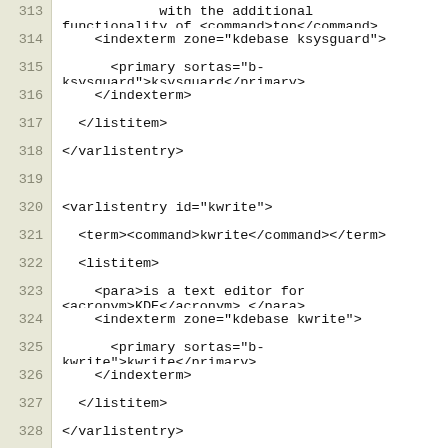Code listing lines 313-331 showing XML markup for KDE documentation varlistentry elements
313:             with the additional functionality of <command>top</command>.</para>
314:     <indexterm zone="kdebase ksysguard">
315:       <primary sortas="b-ksysguard">ksysguard</primary>
316:     </indexterm>
317:   </listitem>
318: </varlistentry>
319: (empty)
320: <varlistentry id="kwrite">
321:   <term><command>kwrite</command></term>
322:   <listitem>
323:     <para>is a text editor for <acronym>KDE</acronym>.</para>
324:     <indexterm zone="kdebase kwrite">
325:       <primary sortas="b-kwrite">kwrite</primary>
326:     </indexterm>
327:   </listitem>
328: </varlistentry>
329: (empty)
330: <varlistentry id="kxkb">
331:   <term><command>kxkb</command></term>